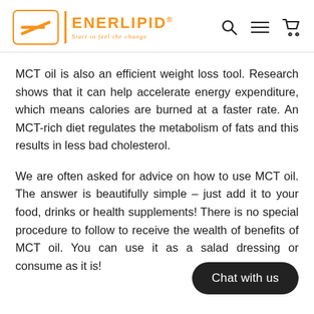ENERLIPID® Start to feel the change
MCT oil is also an efficient weight loss tool. Research shows that it can help accelerate energy expenditure, which means calories are burned at a faster rate. An MCT-rich diet regulates the metabolism of fats and this results in less bad cholesterol.
We are often asked for advice on how to use MCT oil. The answer is beautifully simple – just add it to your food, drinks or health supplements! There is no special procedure to follow to receive the wealth of benefits of MCT oil. You can use it as a salad dressing or consume as it is!